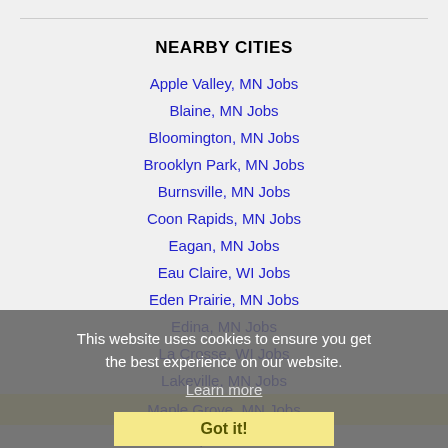NEARBY CITIES
Apple Valley, MN Jobs
Blaine, MN Jobs
Bloomington, MN Jobs
Brooklyn Park, MN Jobs
Burnsville, MN Jobs
Coon Rapids, MN Jobs
Eagan, MN Jobs
Eau Claire, WI Jobs
Eden Prairie, MN Jobs
Edina, MN Jobs
La Crosse, WI Jobs
Lakeville, MN Jobs
Maple Grove, MN Jobs
Minneapolis, MN Jobs
Minnetonka, MN Jobs
Plymouth, MN Jobs
This website uses cookies to ensure you get the best experience on our website. Learn more Got it!